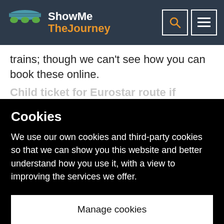[Figure (logo): ShowMe TheJourney website logo with navigation header icons (search and menu)]
trains; though we can't see how you can book these online.
Child ticket for Eurostar route if
Cookies
We use our own cookies and third-party cookies so that we can show you this website and better understand how you use it, with a view to improving the services we offer.
Manage cookies
Accept all